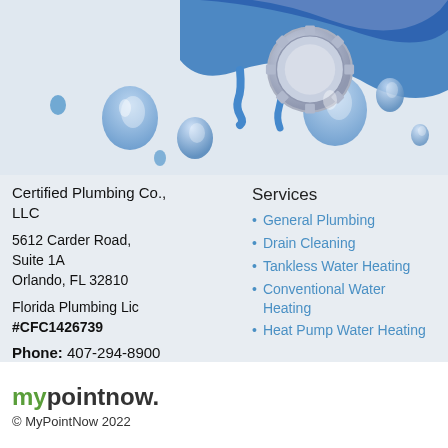[Figure (illustration): Water splash illustration with blue water droplets and a plumbing badge/logo at the top of the page on a light grey background]
Certified Plumbing Co., LLC
5612 Carder Road, Suite 1A
Orlando, FL 32810
Florida Plumbing Lic #CFC1426739
Phone: 407-294-8900
Services
General Plumbing
Drain Cleaning
Tankless Water Heating
Conventional Water Heating
Heat Pump Water Heating
Terms of Use
mypointnow.
© MyPointNow 2022